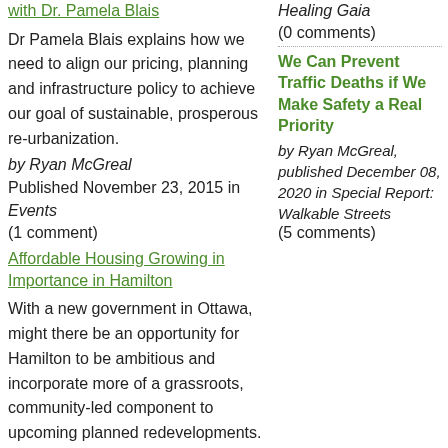with Dr. Pamela Blais (link)
Dr Pamela Blais explains how we need to align our pricing, planning and infrastructure policy to achieve our goal of sustainable, prosperous re-urbanization.
by Ryan McGreal
Published November 23, 2015 in Events (1 comment)
Affordable Housing Growing in Importance in Hamilton (link)
With a new government in Ottawa, might there be an opportunity for Hamilton to be ambitious and incorporate more of a grassroots, community-led component to upcoming planned redevelopments.
by Rob Fiedler
Healing Gaia (0 comments)
We Can Prevent Traffic Deaths if We Make Safety a Real Priority
by Ryan McGreal, published December 08, 2020 in Special Report: Walkable Streets (5 comments)